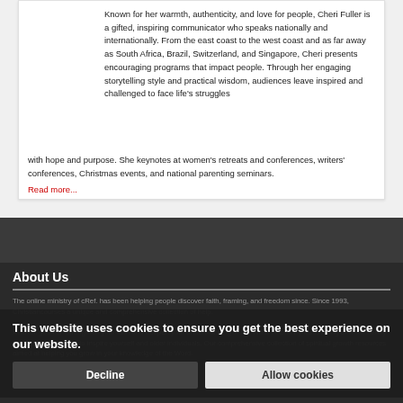Known for her warmth, authenticity, and love for people, Cheri Fuller is a gifted, inspiring communicator who speaks nationally and internationally. From the east coast to the west coast and as far away as South Africa, Brazil, Switzerland, and Singapore, Cheri presents encouraging programs that impact people. Through her engaging storytelling style and practical wisdom, audiences leave inspired and challenged to face life's struggles with hope and purpose. She keynotes at women's retreats and conferences, writers' conferences, Christmas events, and national parenting seminars.
Read more...
About Us
The online ministry of cRef. has been helping people discover faith, framing, and freedom since. Since 1993, Christiancourses a unique and comprehensive collection of help.
At cRef. you can strengthen your faith and deepen your understanding of the Word of God by discovering and constantly teaching and leading to inspire yourself and older individuals. Our comprehensive collection of spiritual growth resources aimed at helping you grow in your knowledge of the Word.
This website uses cookies to ensure you get the best experience on our website.